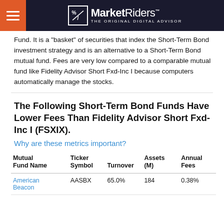MarketRiders — THE ORIGINAL DIGITAL ADVISOR
Fund. It is a "basket" of securities that index the Short-Term Bond investment strategy and is an alternative to a Short-Term Bond mutual fund. Fees are very low compared to a comparable mutual fund like Fidelity Advisor Short Fxd-Inc I because computers automatically manage the stocks.
The Following Short-Term Bond Funds Have Lower Fees Than Fidelity Advisor Short Fxd-Inc I (FSXIX).
Why are these metrics important?
| Mutual Fund Name | Ticker Symbol | Turnover | Assets (M) | Annual Fees |
| --- | --- | --- | --- | --- |
| American Beacon | AASBX | 65.0% | 184 | 0.38% |